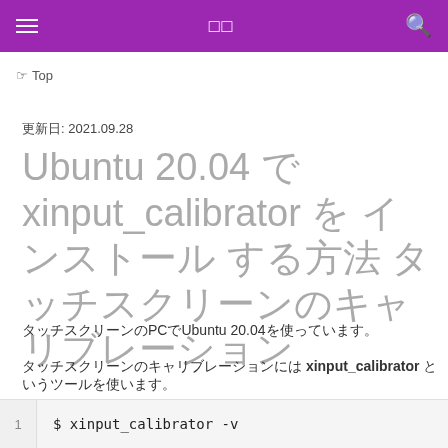☰  □□  🔍
☞ Top
更新日: 2021.09.28
Ubuntu 20.04 で xinput_calibrator を インストール する方法 タッチスクリーンのキャリブレーション
タッチスクリーンのPCでUbuntu 20.04を使っています。
タッチスクリーンのキャリブレーションには xinput_calibrator というツールを使います。
$ xinput_calibrator -v